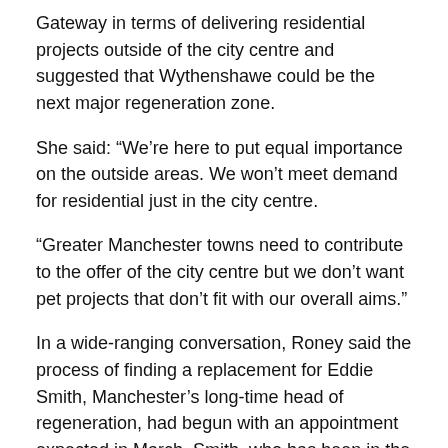Gateway in terms of delivering residential projects outside of the city centre and suggested that Wythenshawe could be the next major regeneration zone.
She said: “We’re here to put equal importance on the outside areas. We won’t meet demand for residential just in the city centre.
“Greater Manchester towns need to contribute to the offer of the city centre but we don’t want pet projects that don’t fit with our overall aims.”
In a wide-ranging conversation, Roney said the process of finding a replacement for Eddie Smith, Manchester’s long-time head of regeneration, had begun with an appointment expected in March. Smith, who has been in the role for 20 years, announced his intention to retire last November.